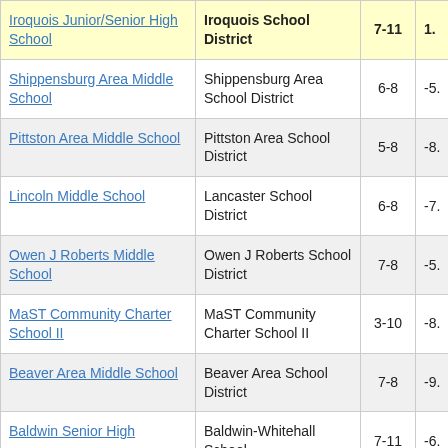| School | District | Grades | Value |
| --- | --- | --- | --- |
| Iroquois Junior/Senior High School | Iroquois School District | 7-11 | 1. |
| Shippensburg Area Middle School | Shippensburg Area School District | 6-8 | -5. |
| Pittston Area Middle School | Pittston Area School District | 5-8 | -8. |
| Lincoln Middle School | Lancaster School District | 6-8 | -7. |
| Owen J Roberts Middle School | Owen J Roberts School District | 7-8 | -5. |
| MaST Community Charter School II | MaST Community Charter School II | 3-10 | -8. |
| Beaver Area Middle School | Beaver Area School District | 7-8 | -9. |
| Baldwin Senior High School | Baldwin-Whitehall School | 7-11 | -6. |